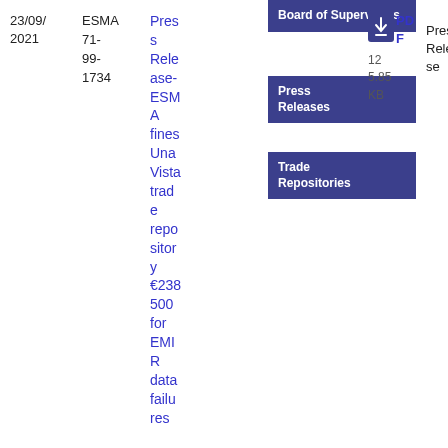23/09/
2021
ESMA 71-99-1734
Press Release- ESMA fines Una Vista trade repository €238 500 for EMIR data failures
Board of Supervisors
Press Release
Trade Repositories
Press Release
[Figure (other): PDF download icon, blue square with downward chevron]
PDF
125.85 KB